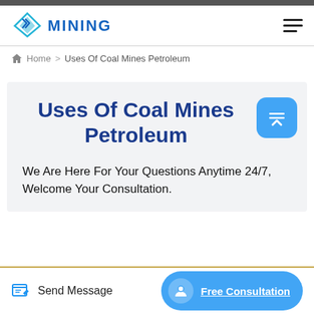MiNING
Home > Uses Of Coal Mines Petroleum
Uses Of Coal Mines Petroleum
We Are Here For Your Questions Anytime 24/7, Welcome Your Consultation.
Send Message | Free Consultation